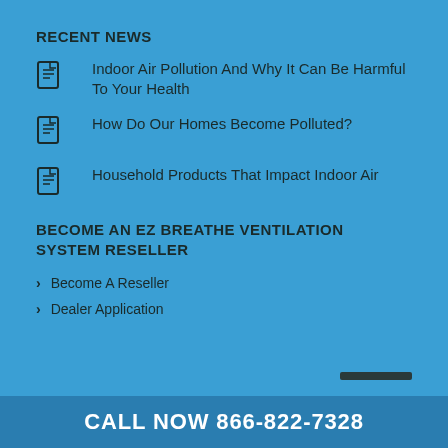RECENT NEWS
Indoor Air Pollution And Why It Can Be Harmful To Your Health
How Do Our Homes Become Polluted?
Household Products That Impact Indoor Air
BECOME AN EZ BREATHE VENTILATION SYSTEM RESELLER
Become A Reseller
Dealer Application
CALL NOW 866-822-7328